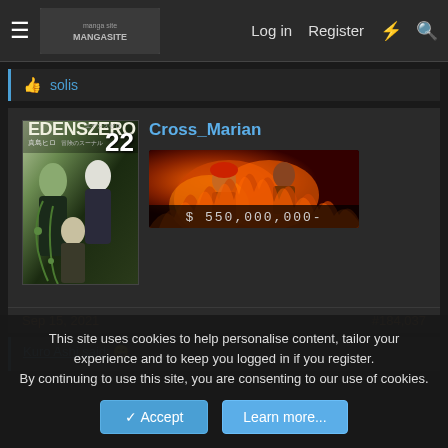≡  [logo]  Log in  Register  ⚡  🔍
👍 solis
Cross_Marian
[Figure (photo): Edens Zero manga volume 22 cover showing characters]
[Figure (photo): Anime banner image with fiery scene and text '$ 550,000,000-']
Sep 15, 2021
#184,037
Kuro Ashi said: ☺
This site uses cookies to help personalise content, tailor your experience and to keep you logged in if you register.
By continuing to use this site, you are consenting to our use of cookies.
✓ Accept
Learn more...